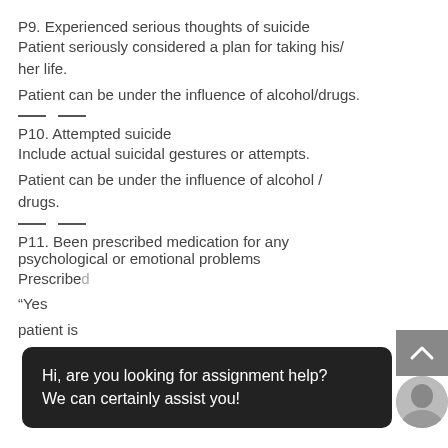P9. Experienced serious thoughts of suicide
Patient seriously considered a plan for taking his/her life.
Patient can be under the influence of alcohol/drugs.
P10. Attempted suicide
Include actual suicidal gestures or attempts.
Patient can be under the influence of alcohol / drugs.
P11. Been prescribed medication for any psychological or emotional problems
Prescribed... “Yes”... patient is...